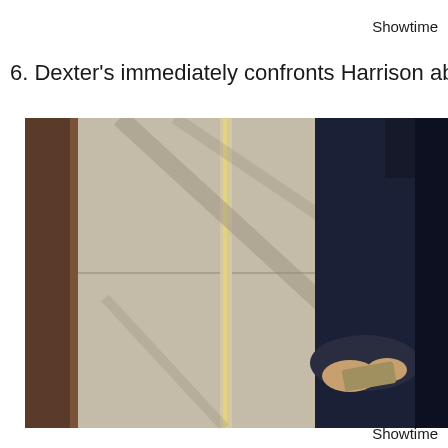Showtime
6. Dexter's immediately confronts Harrison about hi
[Figure (photo): A person in a dark navy/black top standing near a wall, holding a phone or small object in their hands. The background shows a light-colored tiled or paneled wall with shadow lines cast across it, and a dark wooden element on the left.]
Showtime